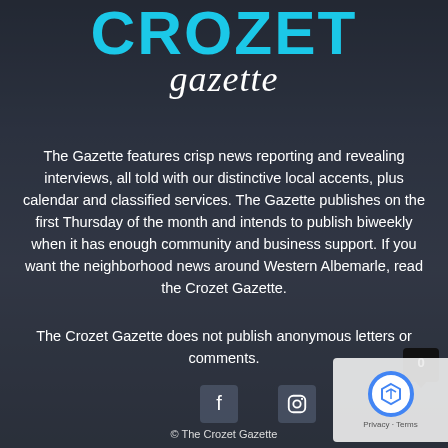CROZET gazette
The Gazette features crisp news reporting and revealing interviews, all told with our distinctive local accents, plus calendar and classified services. The Gazette publishes on the first Thursday of the month and intends to publish biweekly when it has enough community and business support. If you want the neighborhood news around Western Albemarle, read the Crozet Gazette.
The Crozet Gazette does not publish anonymous letters or comments.
[Figure (other): Facebook and Instagram social media icons]
© The Crozet Gazette